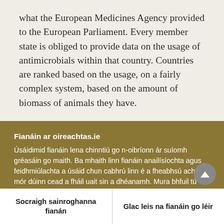what the European Medicines Agency provided to the European Parliament. Every member state is obliged to provide data on the usage of antimicrobials within that country. Countries are ranked based on the usage, on a fairly complex system, based on the amount of biomass of animals they have.
Fianáin ar oireachtas.ie
Úsáidimid fianáin lena chinntiú go n-oibríonn ár suíomh gréasáin go maith. Ba mhaith linn fianáin anailísíochta agus feidhmiúlachta a úsáid chun cabhrú linn é a fheabhsú ach ní mór dúinn cead a fháil uait sin a dhéanamh. Mura bhfuil tú sásta cead a thabhairt, ní úsáidfear ach fianáin riachtanacha. Léigh tuileadh faoinár bhfianáin
Socraigh sainroghanna fianán
Glac leis na fianáin go léir